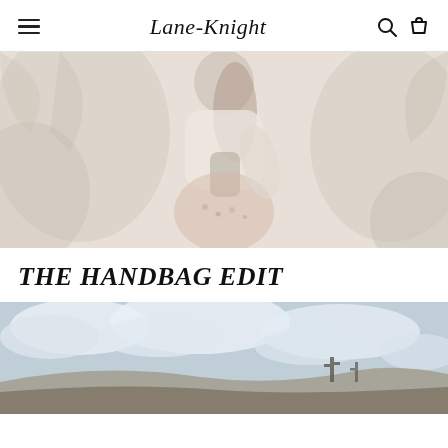Lane-Knight
[Figure (photo): Woman from behind wearing white top and floral skirt with a handbag, surrounded by tropical foliage, washed-out light tones]
THE HANDBAG EDIT
[Figure (photo): Outdoor desert landscape with cloudy blue sky and cacti on a hillside, partially visible at bottom of page]